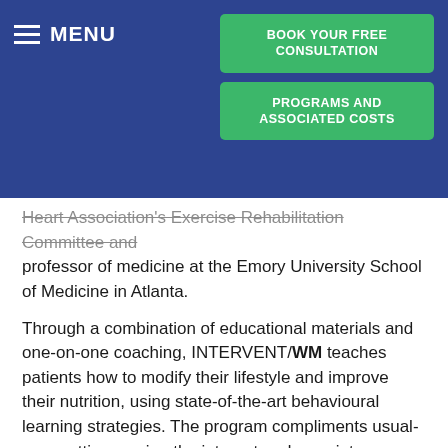MENU | BOOK YOUR FREE CONSULTATION | PROGRAMS AND ASSOCIATED COSTS
Heart Association's Exercise Rehabilitation Committee and professor of medicine at the Emory University School of Medicine in Atlanta.
Through a combination of educational materials and one-on-one coaching, INTERVENT/WM teaches patients how to modify their lifestyle and improve their nutrition, using state-of-the-art behavioural learning strategies. The program compliments usual-care settings, using the internet and proprietary technology for scheduling and delivering telephonic health support from dieticians and health coaches.
For those physicians who choose to join our MD Network, INTERVENT/WM provides quick and easy training and on-going support to you and your staff, while taking care of all of the heavy lifting required to achieve the weight loss and lifestyle